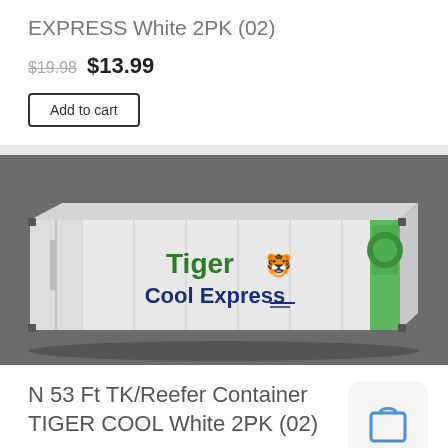EXPRESS White 2PK (02)
$19.98  $13.99
Add to cart
[Figure (photo): Model shipping container with Tiger Cool Express branding in white with green and blue lettering, shown on grey background. Two containers side by side.]
N 53 Ft TK/Reefer Container TIGER COOL White 2PK (02)
$19.98  $13.99
Add to cart